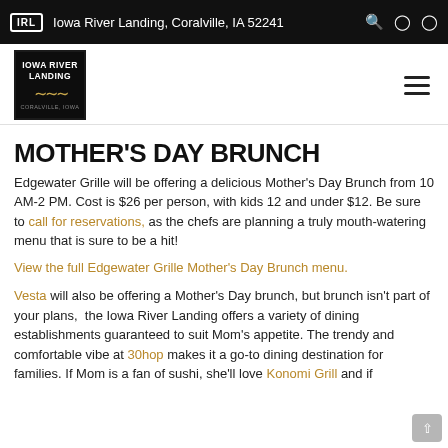Iowa River Landing, Coralville, IA 52241
[Figure (logo): Iowa River Landing logo — black background with gold text and wave design]
MOTHER'S DAY BRUNCH
Edgewater Grille will be offering a delicious Mother's Day Brunch from 10 AM-2 PM. Cost is $26 per person, with kids 12 and under $12. Be sure to call for reservations, as the chefs are planning a truly mouth-watering menu that is sure to be a hit!
View the full Edgewater Grille Mother's Day Brunch menu.
Vesta will also be offering a Mother's Day brunch, but brunch isn't part of your plans, the Iowa River Landing offers a variety of dining establishments guaranteed to suit Mom's appetite. The trendy and comfortable vibe at 30hop makes it a go-to dining destination for families. If Mom is a fan of sushi, she'll love Konomi Grill and if